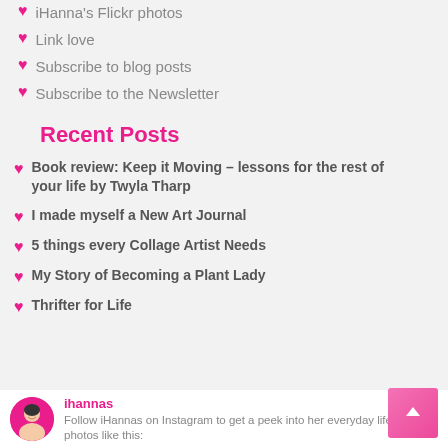iHanna's Flickr photos
Link love
Subscribe to blog posts
Subscribe to the Newsletter
Recent Posts
Book review: Keep it Moving – lessons for the rest of your life by Twyla Tharp
I made myself a New Art Journal
5 things every Collage Artist Needs
My Story of Becoming a Plant Lady
Thrifter for Life
ihannas
Follow iHannas on Instagram to get a peek into her everyday life and see photos like this: